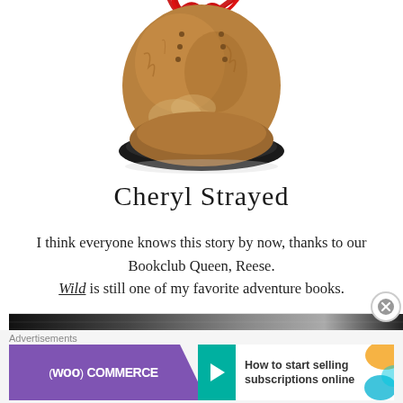[Figure (photo): A worn brown hiking boot with red laces viewed from front/above, on white background]
Cheryl Strayed
I think everyone knows this story by now, thanks to our Bookclub Queen, Reese. Wild is still one of my favorite adventure books.
[Figure (photo): Dark textured strip at the bottom, advertisement area with WooCommerce banner]
Advertisements
How to start selling subscriptions online